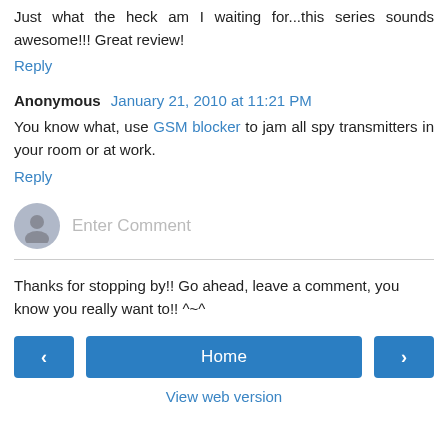Just what the heck am I waiting for...this series sounds awesome!!! Great review!
Reply
Anonymous January 21, 2010 at 11:21 PM
You know what, use GSM blocker to jam all spy transmitters in your room or at work.
Reply
Enter Comment
Thanks for stopping by!! Go ahead, leave a comment, you know you really want to!! ^~^
< Home > View web version